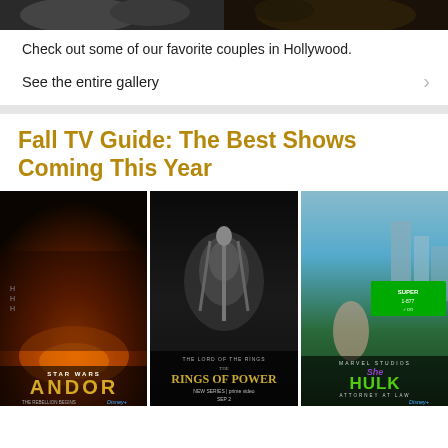[Figure (photo): Two partially visible movie/celebrity photos side by side at top of page]
Check out some of our favorite couples in Hollywood.
See the entire gallery
Fall TV Guide: The Best Shows Coming This Year
[Figure (photo): Three TV show promotional posters side by side: Andor (Star Wars, Disney+), The Lord of the Rings: The Rings of Power (New Series Sep 2, Prime Video), She-Hulk: Attorney at Law (Marvel Studios, Disney+)]